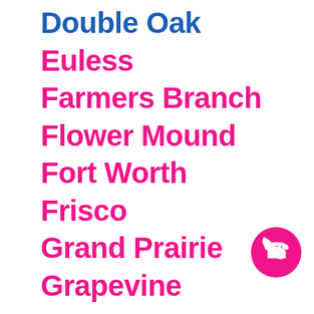Double Oak
Euless
Farmers Branch
Flower Mound
Fort Worth
Frisco
Grand Prairie
Grapevine
Highland Park
[Figure (illustration): Pink circular phone/call button icon in bottom right corner]